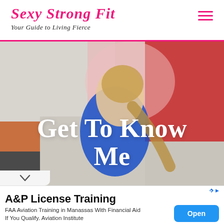Sexy Strong Fit – Your Guide to Living Fierce
[Figure (photo): Woman with blonde braided hair wearing a blue top, posing in front of a colorful painted wall (pink, red, orange, grey sections). Text overlay reads 'Get To Know Me' in large white serif font.]
Get To Know Me
A&P License Training
FAA Aviation Training in Manassas With Financial Aid If You Qualify. Aviation Institute